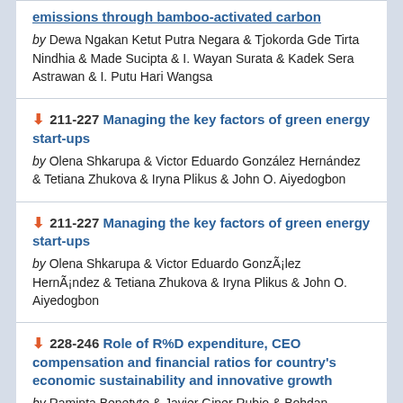emissions through bamboo-activated carbon by Dewa Ngakan Ketut Putra Negara & Tjokorda Gde Tirta Nindhia & Made Sucipta & I. Wayan Surata & Kadek Sera Astrawan & I. Putu Hari Wangsa
211-227 Managing the key factors of green energy start-ups by Olena Shkarupa & Victor Eduardo González Hernández & Tetiana Zhukova & Iryna Plikus & John O. Aiyedogbon
211-227 Managing the key factors of green energy start-ups by Olena Shkarupa & Victor Eduardo GonzÃ¡lez HernÃ¡ndez & Tetiana Zhukova & Iryna Plikus & John O. Aiyedogbon
228-246 Role of R%D expenditure, CEO compensation and financial ratios for country's economic sustainability and innovative growth by Raminta Benetyte & Javier Giner Rubio & Bohdan